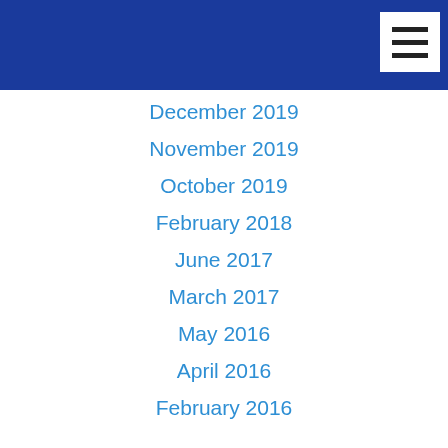December 2019
November 2019
October 2019
February 2018
June 2017
March 2017
May 2016
April 2016
February 2016
November 2015
July 2015
February 2015
December 2014
October 2014
September 2014
August 2014
July 2014
June 2014
May 2014
April 2014
March 2014